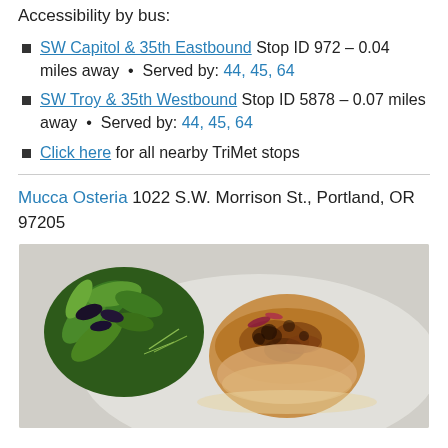Accessibility by bus:
SW Capitol & 35th Eastbound Stop ID 972 – 0.04 miles away  •  Served by: 44, 45, 64
SW Troy & 35th Westbound Stop ID 5878 – 0.07 miles away  •  Served by: 44, 45, 64
Click here for all nearby TriMet stops
Mucca Osteria 1022 S.W. Morrison St., Portland, OR 97205
[Figure (photo): Photo of a seared scallop with micro greens garnish on a white plate]